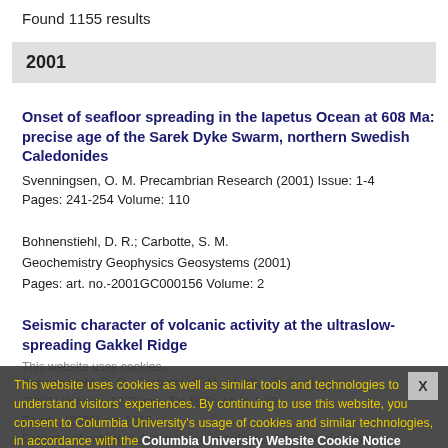Found 1155 results
2001
Onset of seafloor spreading in the Iapetus Ocean at 608 Ma: precise age of the Sarek Dyke Swarm, northern Swedish Caledonides
Svenningsen, O. M.  Precambrian Research  (2001)    Issue: 1-4
Pages: 241-254    Volume: 110
Bohnenstiehl, D. R.; Carbotte, S. M.
Geochemistry Geophysics Geosystems  (2001)
Pages: art. no.-2001GC000156    Volume: 2
Seismic character of volcanic activity at the ultraslow-spreading Gakkel Ridge
This website uses cookies as well as similar tools and technologies to understand visitors' experiences. By continuing to use this website, you consent to Columbia University's usage of cookies and similar technologies, in accordance with the Columbia University Website Cookie Notice
Patterns of coherent decadal and interdecadal climate signals in